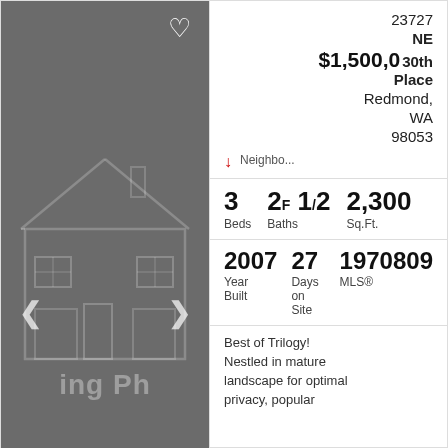[Figure (photo): Dark gray real estate listing thumbnail with house outline illustration and navigation arrows, placeholder for property photo]
23727 NE 330th Place Redmond, WA 98053
$1,500,000
↓
Neighbo...
3 Beds  2F 1/2 Baths  2,300 Sq.Ft.
2007 Year Built  27 Days on Site  19708095 MLS®
Best of Trilogy! Nestled in mature landscape for optimal privacy, popular